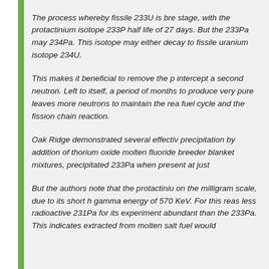The process whereby fissile 233U is bre stage, with the protactinium isotope 233P half life of 27 days. But the 233Pa may 234Pa. This isotope may either decay to fissile uranium isotope 234U. This makes it beneficial to remove the p intercept a second neutron. Left to itself, a period of months to produce very pure leaves more neutrons to maintain the rea fuel cycle and the fission chain reaction. Oak Ridge demonstrated several effectiv precipitation by addition of thorium oxide molten fluoride breeder blanket mixtures, precipitated 233Pa when present at just But the authors note that the protactiniu on the milligram scale, due to its short h gamma energy of 570 KeV. For this reas less radioactive 231Pa for its experiment abundant than the 233Pa. This indicates extracted from molten salt fuel would